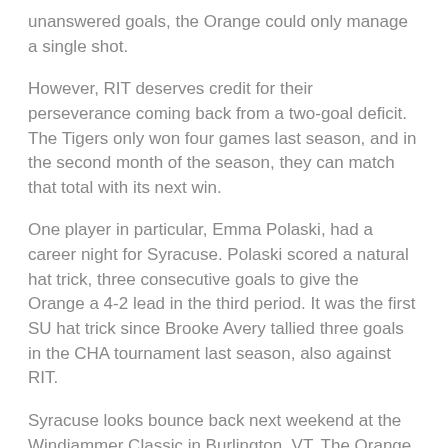unanswered goals, the Orange could only manage a single shot.
However, RIT deserves credit for their perseverance coming back from a two-goal deficit. The Tigers only won four games last season, and in the second month of the season, they can match that total with its next win.
One player in particular, Emma Polaski, had a career night for Syracuse. Polaski scored a natural hat trick, three consecutive goals to give the Orange a 4-2 lead in the third period. It was the first SU hat trick since Brooke Avery tallied three goals in the CHA tournament last season, also against RIT.
Syracuse looks bounce back next weekend at the Windjammer Classic in Burlington, VT. The Orange take on the Vermont Catamounts next Friday followed by a match against either No. 9 St.